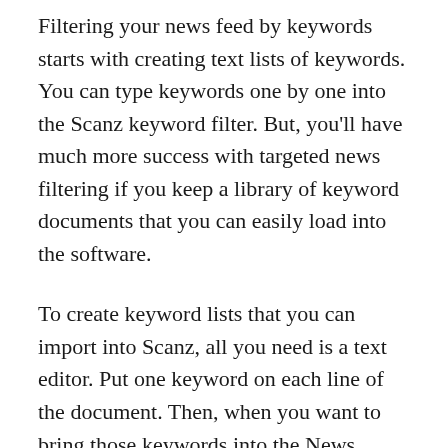Filtering your news feed by keywords starts with creating text lists of keywords. You can type keywords one by one into the Scanz keyword filter. But, you'll have much more success with targeted news filtering if you keep a library of keyword documents that you can easily load into the software.
To create keyword lists that you can import into Scanz, all you need is a text editor. Put one keyword on each line of the document. Then, when you want to bring those keywords into the News module for use as filters, you can use the 'Load Files' function.